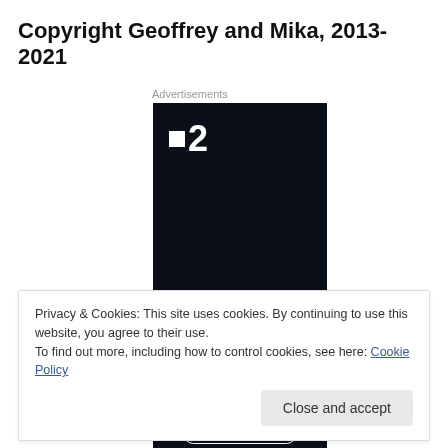Copyright Geoffrey and Mika, 2013-2021
Advertisements
[Figure (other): Dark advertisement banner with white logo showing a small square icon and the number 2, and partial italic text at the bottom]
Privacy & Cookies: This site uses cookies. By continuing to use this website, you agree to their use.
To find out more, including how to control cookies, see here: Cookie Policy
Close and accept